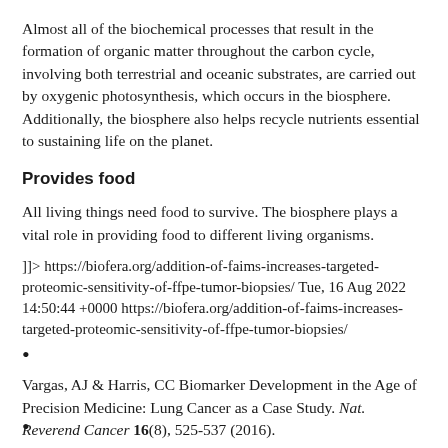Almost all of the biochemical processes that result in the formation of organic matter throughout the carbon cycle, involving both terrestrial and oceanic substrates, are carried out by oxygenic photosynthesis, which occurs in the biosphere. Additionally, the biosphere also helps recycle nutrients essential to sustaining life on the planet.
Provides food
All living things need food to survive. The biosphere plays a vital role in providing food to different living organisms.
]]> https://biofera.org/addition-of-faims-increases-targeted-proteomic-sensitivity-of-ffpe-tumor-biopsies/ Tue, 16 Aug 2022 14:50:44 +0000 https://biofera.org/addition-of-faims-increases-targeted-proteomic-sensitivity-of-ffpe-tumor-biopsies/
•
Vargas, AJ & Harris, CC Biomarker Development in the Age of Precision Medicine: Lung Cancer as a Case Study. Nat. Reverend Cancer 16(8), 525-537 (2016).
CAS Google Scholar Article
•